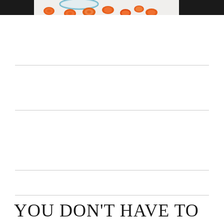[Figure (photo): Image strip at top of page showing orange carrot slices/pills on a light background, with black bars on left and right edges]
YOU DON'T HAVE TO